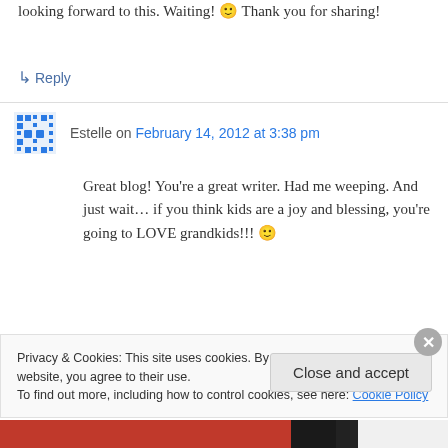looking forward to this. Waiting! 😊 Thank you for sharing!
↳ Reply
Estelle on February 14, 2012 at 3:38 pm
Great blog! You're a great writer. Had me weeping. And just wait… if you think kids are a joy and blessing, you're going to LOVE grandkids!!! 🙂
Privacy & Cookies: This site uses cookies. By continuing to use this website, you agree to their use. To find out more, including how to control cookies, see here: Cookie Policy
Close and accept